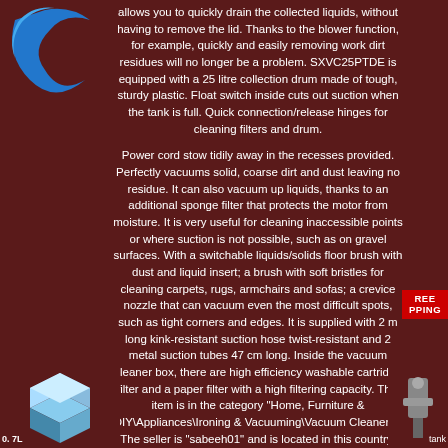[Figure (logo): Blue stylized logo top left corner]
allows you to quickly drain the collected liquids, without having to remove the lid. Thanks to the blower function, for example, quickly and easily removing work dirt residues will no longer be a problem. SXVC25PTDE is equipped with a 25 litre collection drum made of tough, sturdy plastic. Float switch inside cuts out suction when the tank is full. Quick connection/release hinges for cleaning filters and drum.
Power cord stow tidily away in the recesses provided. Perfectly vacuums solid, coarse dirt and dust leaving no residue. It can also vacuum up liquids, thanks to an additional sponge filter that protects the motor from moisture. It is very useful for cleaning inaccessible points or where suction is not possible, such as on gravel surfaces. With a switchable liquids/solids floor brush with dust and liquid insert; a brush with soft bristles for cleaning carpets, rugs, armchairs and sofas; a crevice nozzle that can vacuum even the most difficult spots, such as tight corners and edges. It is supplied with 2 m long kink-resistant suction hose twist-resistant and 2 metal suction tubes 47 cm long. Inside the vacuum cleaner box, there are high efficiency washable cartridge filter and a paper filter with a high filtering capacity. This item is in the category "Home, Furniture & DIY\Appliances\Ironing & Vacuuming\Vacuum Cleaners". The seller is "sabeeh01" and is located in this country: GB. This item can be shipped to United Kingdom.
Material Type: Plastic
Size Name: 25 L - Power Tool Socket
Colour: Black
[Figure (illustration): FREE SHIPPING badge top right]
[Figure (illustration): Isometric box illustration bottom left]
[Figure (illustration): Vacuum cleaner part illustration bottom right]